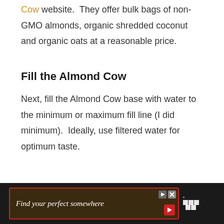Cow website.  They offer bulk bags of non-GMO almonds, organic shredded coconut and organic oats at a reasonable price.
Fill the Almond Cow
Next, fill the Almond Cow base with water to the minimum or maximum fill line (I did minimum).  Ideally, use filtered water for optimum taste.
[Figure (other): Advertisement banner at the bottom of the page with dark background reading 'Find your perfect somewhere' with a play button and close button controls, and a Tidal logo on the right.]